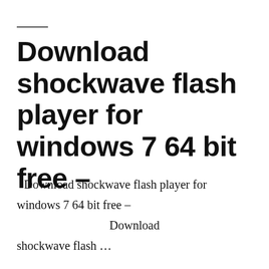Download shockwave flash player for windows 7 64 bit free –
Download shockwave flash player for windows 7 64 bit free –

Download shockwave flash …